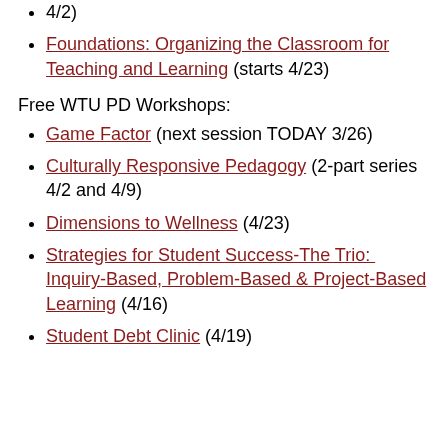4/2)
Foundations: Organizing the Classroom for Teaching and Learning (starts 4/23)
Free WTU PD Workshops:
Game Factor (next session TODAY 3/26)
Culturally Responsive Pedagogy (2-part series 4/2 and 4/9)
Dimensions to Wellness (4/23)
Strategies for Student Success-The Trio:  Inquiry-Based, Problem-Based & Project-Based Learning (4/16)
Student Debt Clinic (4/19)